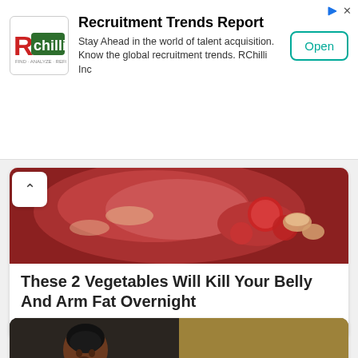[Figure (screenshot): Advertisement banner for RChilli Recruitment Trends Report with logo, description text, and Open button]
Recruitment Trends Report
Stay Ahead in the world of talent acquisition. Know the global recruitment trends. RChilli Inc
[Figure (photo): Food photo showing raw meat/pizza with tomatoes at the top of a content card]
These 2 Vegetables Will Kill Your Belly And Arm Fat Overnight
Keto Diet
[Figure (photo): Split image: left side shows a muscular woman in a Nike tank top, right side shows a pile of golden brown spice powder on a wooden spoon]